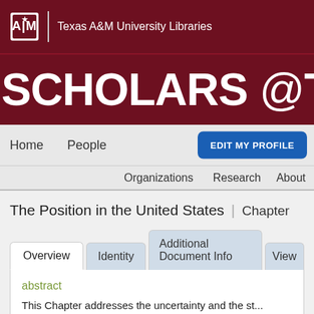[Figure (logo): Texas A&M University Libraries logo with ATM shield and text]
Texas A&M University Libraries
SCHOLARS @TAMU
Home   People   EDIT MY PROFILE
Organizations   Research   About
The Position in the United States | Chapter
Overview   Identity   Additional Document Info   View
abstract
This Chapter addresses the uncertainty and the st...